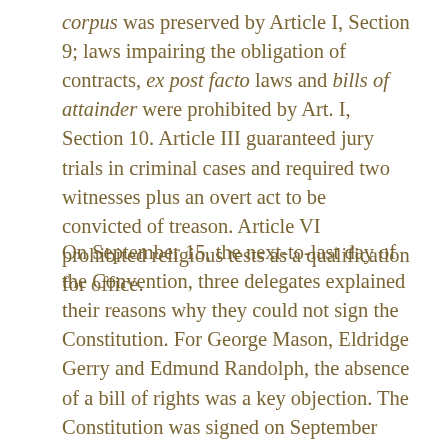corpus was preserved by Article I, Section 9; laws impairing the obligation of contracts, ex post facto laws and bills of attainder were prohibited by Art. I, Section 10. Article III guaranteed jury trials in criminal cases and required two witnesses plus an overt act to be convicted of treason. Article VI prohibited religious tests as a qualification for office.
On September 15, the next-to-last day of the Convention, three delegates explained their reasons why they could not sign the Constitution. For George Mason, Eldridge Gerry and Edmund Randolph, the absence of a bill of rights was a key objection. The Constitution was signed on September 17th by 39 delegates, with Mason, Gerry and Randolph advocating for a second convention.